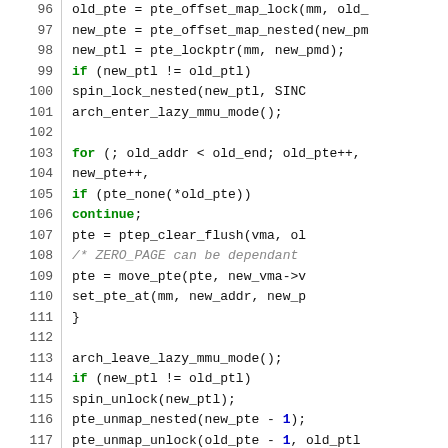[Figure (screenshot): Source code listing (C language), lines 96-122+, showing memory management functions including pte operations, spin locks, arch lazy mmu mode, and a #define for LATENCY_LIMIT]